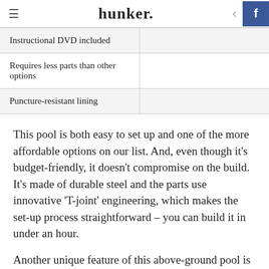hunker
| Instructional DVD included |  |
| Requires less parts than other options |  |
| Puncture-resistant lining |  |
This pool is both easy to set up and one of the more affordable options on our list. And, even though it's budget-friendly, it doesn't compromise on the build. It's made of durable steel and the parts use innovative 'T-joint' engineering, which makes the set-up process straightforward – you can build it in under an hour.
Another unique feature of this above-ground pool is